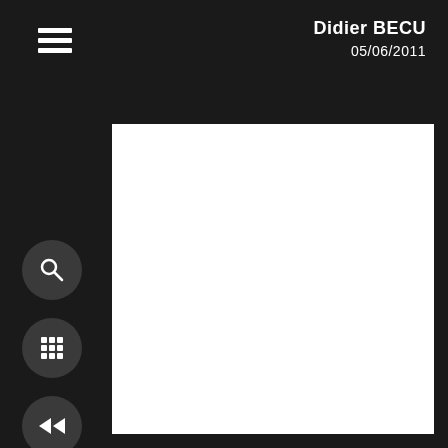Didier BECU
05/06/2011
[Figure (screenshot): Dark UI interface with hamburger menu icon (three horizontal white lines) in the top left, user name 'Didier BECU' and date '05/06/2011' in the top right, left sidebar with four circular dark buttons (search magnifier, grid/apps, rewind, fast-forward), and a large white content/preview area on the right.]